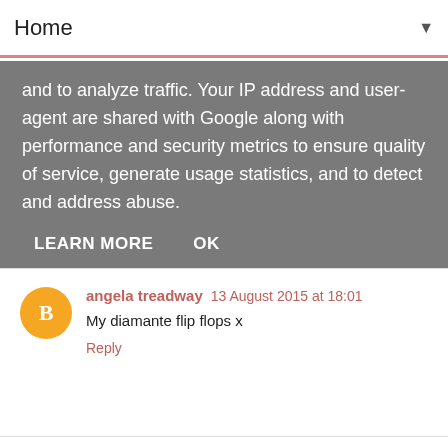Home ▼
and to analyze traffic. Your IP address and user-agent are shared with Google along with performance and security metrics to ensure quality of service, generate usage statistics, and to detect and address abuse.
LEARN MORE   OK
angela treadway  13 August 2015 at 18:01
My diamante flip flops x
Reply
Unknown  14 August 2015 at 00:33
Flipflops
Reply
Alica  14 August 2015 at 01:07